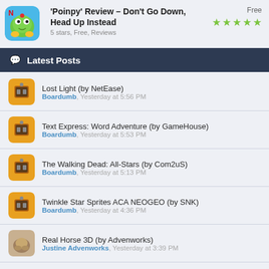'Poinpy' Review – Don't Go Down, Head Up Instead
5 stars, Free, Reviews
Free
Latest Posts
Lost Light (by NetEase)
Boardumb, Yesterday at 5:56 PM
Text Express: Word Adventure (by GameHouse)
Boardumb, Yesterday at 5:53 PM
The Walking Dead: All-Stars (by Com2uS)
Boardumb, Yesterday at 5:13 PM
Twinkle Star Sprites ACA NEOGEO (by SNK)
Boardumb, Yesterday at 4:36 PM
Real Horse 3D (by Advenworks)
Justine Advenworks, Yesterday at 3:39 PM